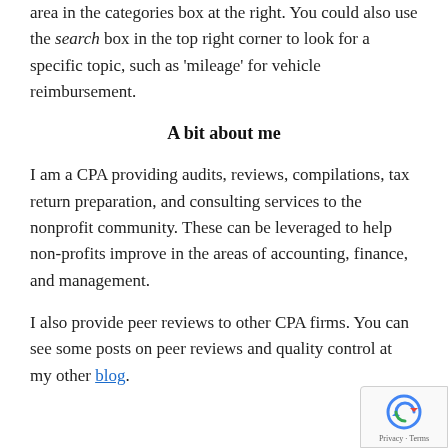area in the categories box at the right. You could also use the search box in the top right corner to look for a specific topic, such as 'mileage' for vehicle reimbursement.
A bit about me
I am a CPA providing audits, reviews, compilations, tax return preparation, and consulting services to the nonprofit community. These can be leveraged to help non-profits improve in the areas of accounting, finance, and management.
I also provide peer reviews to other CPA firms. You can see some posts on peer reviews and quality control at my other blog.